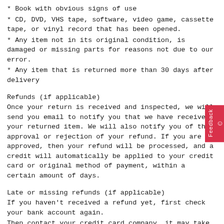* Book with obvious signs of use
* CD, DVD, VHS tape, software, video game, cassette tape, or vinyl record that has been opened.
* Any item not in its original condition, is damaged or missing parts for reasons not due to our error.
* Any item that is returned more than 30 days after delivery
Refunds (if applicable)
Once your return is received and inspected, we will send you email to notify you that we have received your returned item. We will also notify you of the approval or rejection of your refund. If you are approved, then your refund will be processed, and a credit will automatically be applied to your credit card or original method of payment, within a certain amount of days.
Late or missing refunds (if applicable)
If you haven't received a refund yet, first check your bank account again.
Then contact your credit card company, it may take some time before your refund is officially posted.
Next contact your bank. There is often some processing time